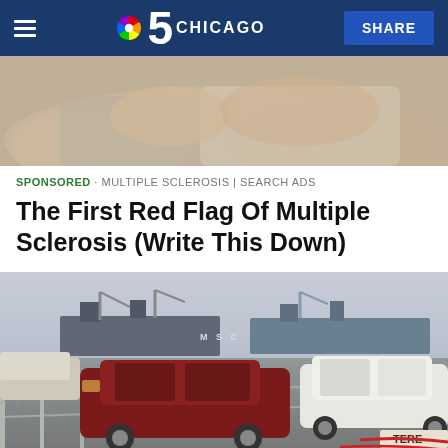NBC 5 CHICAGO | SHARE
[Figure (photo): Partial body photo (top portion of person), cropped at top of page]
SPONSORED · MULTIPLE SCLEROSIS | SEARCH ADS
The First Red Flag Of Multiple Sclerosis (Write This Down)
[Figure (photo): Port/shipping yard scene with Toyota FJ Cruisers (maroon and white) lined up behind a chain-link fence, with cargo ships and cranes in the background. 'MSC' text visible on ship. 'TERE' text visible on bottom right.]